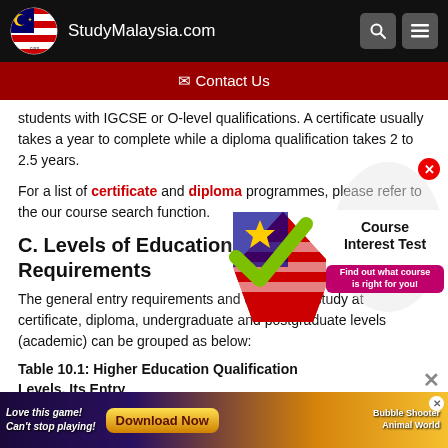StudyMalaysia.com
✉ Contact Us
students with IGCSE or O-level qualifications. A certificate usually takes a year to complete while a diploma qualification takes 2 to 2.5 years.
For a list of certificate and diploma programmes, please refer to the our course search function.
C. Levels of Education Requirements
The general entry requirements and duration of study at certificate, diploma, undergraduate and postgraduate levels (academic) can be grouped as below:
Table 10.1: Higher Education Qualification Levels, Its Entry
[Figure (infographic): Course Interest Test popup with StudyMalaysia logo checkmark and text 'Find out what course is right for you!' with a student illustration]
[Figure (infographic): Ad banner: Love this game! Can't stop playing! Download Now - Bubble Shooter Animal World]